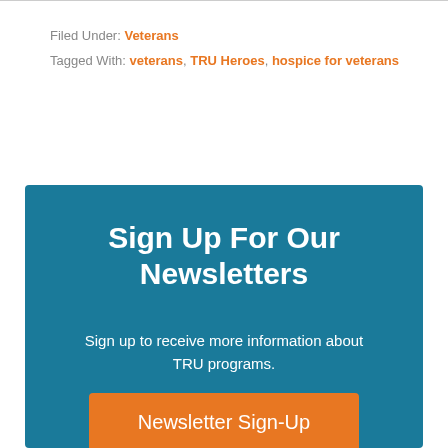Filed Under: Veterans
Tagged With: veterans, TRU Heroes, hospice for veterans
Sign Up For Our Newsletters
Sign up to receive more information about TRU programs.
Newsletter Sign-Up